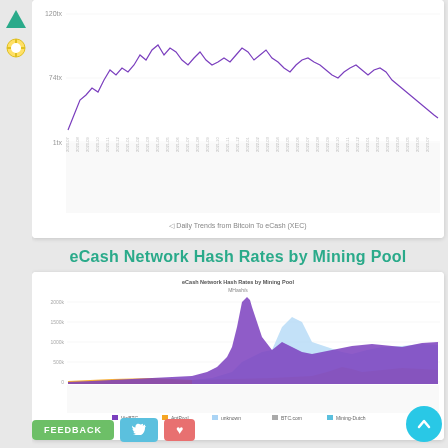[Figure (continuous-plot): Line chart showing daily trends from Bitcoin to eCash (XEC) with a purple line over time, y-axis showing values from 1tx to 120tx, x-axis showing dates]
Daily Trends from Bitcoin To eCash (XEC)
eCash Network Hash Rates by Mining Pool
[Figure (area-chart): Stacked area chart showing eCash Network Hash Rates by Mining Pool (MHash/s). Multiple colored areas: purple, light blue, orange, gray representing different mining pools over time with a large spike in the middle.]